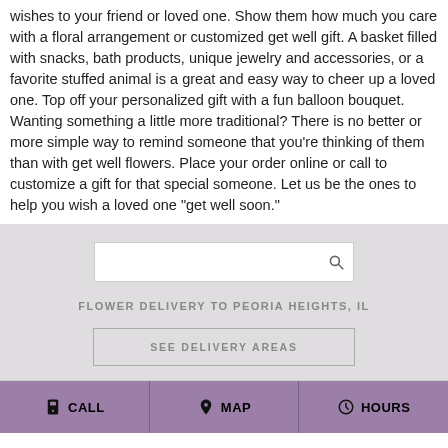wishes to your friend or loved one. Show them how much you care with a floral arrangement or customized get well gift. A basket filled with snacks, bath products, unique jewelry and accessories, or a favorite stuffed animal is a great and easy way to cheer up a loved one. Top off your personalized gift with a fun balloon bouquet. Wanting something a little more traditional? There is no better or more simple way to remind someone that you're thinking of them than with get well flowers. Place your order online or call to customize a gift for that special someone. Let us be the ones to help you wish a loved one "get well soon."
[Figure (other): Search bar with magnifying glass icon]
FLOWER DELIVERY TO PEORIA HEIGHTS, IL
SEE DELIVERY AREAS
CALL   MAP   HOURS